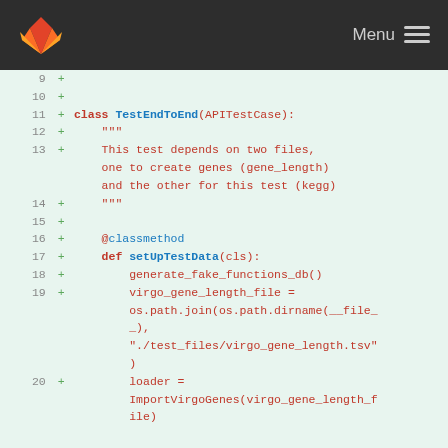GitLab — Menu
[Figure (screenshot): Code diff view showing Python test file lines 9-20 with additions marked by + signs. Code includes class TestEndToEnd(APITestCase) definition with docstring and setUpTestData method.]